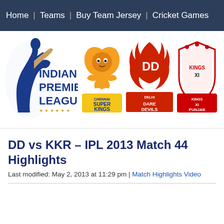Home | Teams | Buy Team Jersey | Cricket Games
[Figure (logo): Indian Premier League logo with team logos: Chennai Super Kings, Delhi Daredevils, Kings XI Punjab]
DD vs KKR – IPL 2013 Match 44 Highlights
Last modified: May 2, 2013 at 11:29 pm | Match Highlights Video